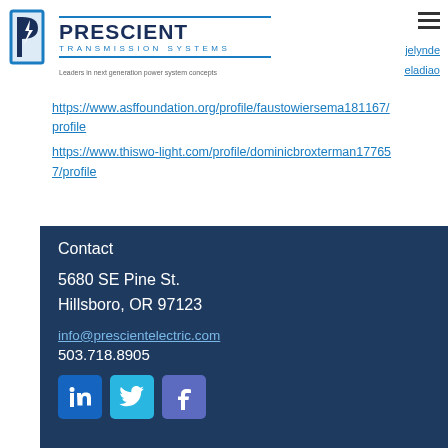[Figure (logo): Prescient Transmission Systems logo with stylized P icon in blue, company name and tagline 'Leaders in next generation power system concepts']
jelynde
eladiao
https://www.asffoundation.org/profile/faustowiersema181167/profile
https://www.thistwo-light.com/profile/dominicbroxterman177657/profile
Contact
5680 SE Pine St.
Hillsboro, OR 97123
info@prescientelectric.com
503.718.8905
[Figure (infographic): Three social media icons: LinkedIn (blue), Twitter (light blue), Facebook (blue-purple)]